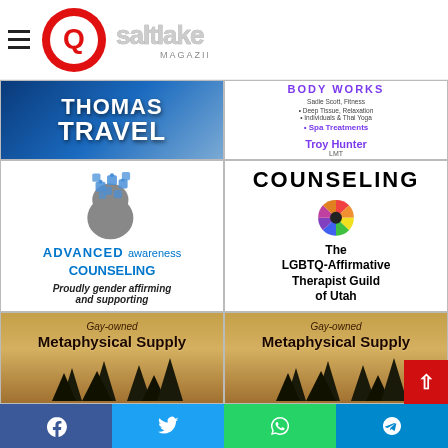Q Salt Lake Magazine
[Figure (logo): Q Salt Lake Magazine logo with red circle Q and text saltlake MAGAZINE]
[Figure (illustration): Thomas Travel advertisement with Eiffel Tower background]
[Figure (illustration): Alpha Body Works ad: Sadie Scott, Spa Treatments, Troy Hunter LMT, 801-901-3671]
[Figure (illustration): Advanced Awareness Counseling: puzzle piece head, Proudly gender affirming and supporting]
[Figure (illustration): LGBTQ-Affirmative Therapist Guild of Utah counseling ad with color wheel]
[Figure (illustration): Gay-owned Metaphysical Supply ad with tree silhouettes]
[Figure (illustration): Gay-owned Metaphysical Supply ad with tree silhouettes (second)]